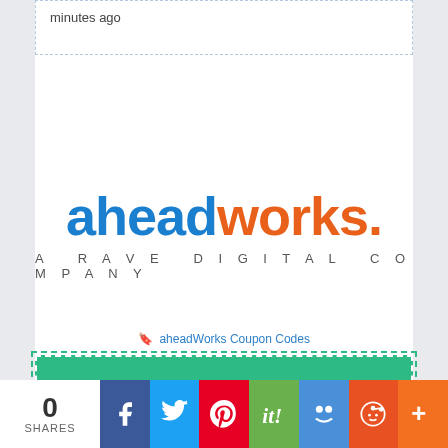minutes ago
[Figure (logo): aheadworks. A RAVE DIGITAL COMPANY logo — 'ahead' in blue, 'works.' in orange, tagline in grey spaced caps]
🔖 aheadWorks Coupon Codes
50% WORKS
3 VOTES
0 SHARES